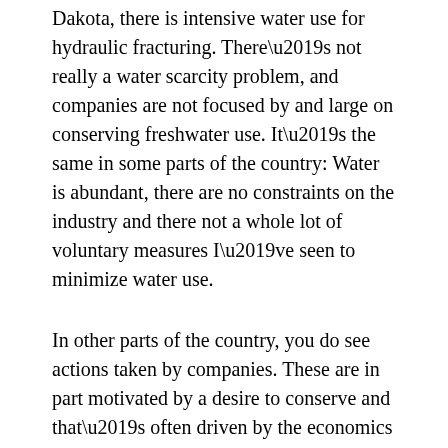Dakota, there is intensive water use for hydraulic fracturing. There’s not really a water scarcity problem, and companies are not focused by and large on conserving freshwater use. It’s the same in some parts of the country: Water is abundant, there are no constraints on the industry and there not a whole lot of voluntary measures I’ve seen to minimize water use.
In other parts of the country, you do see actions taken by companies. These are in part motivated by a desire to conserve and that’s often driven by the economics of water availability.
Another Michigan utility, DTE Energy, is seeking permission to build a nearly $1 billion, 1,100